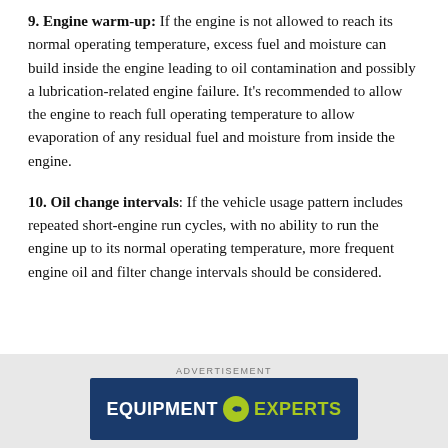9. Engine warm-up: If the engine is not allowed to reach its normal operating temperature, excess fuel and moisture can build inside the engine leading to oil contamination and possibly a lubrication-related engine failure. It's recommended to allow the engine to reach full operating temperature to allow evaporation of any residual fuel and moisture from inside the engine.
10. Oil change intervals: If the vehicle usage pattern includes repeated short-engine run cycles, with no ability to run the engine up to its normal operating temperature, more frequent engine oil and filter change intervals should be considered.
ADVERTISEMENT
[Figure (logo): Equipment Experts logo on dark blue background with green circular icon]